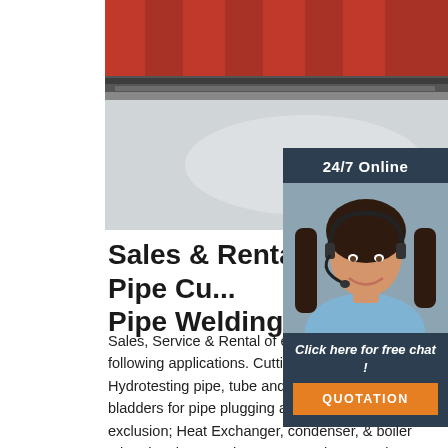[Figure (photo): Industrial pipe cutting/welding machinery in a factory setting showing red overhead equipment and metal plates]
[Figure (infographic): 24/7 Online chat widget with woman wearing headset, 'Click here for free chat!' text and orange QUOTATION button]
Sales & Rental for Pipe Cu... Pipe Welding ...
Sales, Service & Rental of equipment & for following applications. Cutting, Welding & Hydrotesting pipe, tube and plate. Inflatable bladders for pipe plugging and foreign material exclusion; Heat Exchanger, condenser, & boiler tube plugging & maintenance equipment. Pipe Fabrication Machinery; Line Boring and Bore